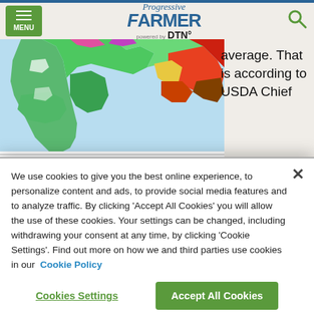Progressive FARMER powered by DTN
[Figure (map): DTN precipitation map showing EC Days 1-10 Precipitation (mm), Valid Wed Sep 30 - Fri Oct 9, Updated Sep 30. Shows South America with color scale from green to red indicating rainfall amounts.]
Valid Wed Sep 30 - Fri Oct 9  EC Days 1-10 Precipitation (mm)  Updated Sep 30  DTN
average. That is according to USDA Chief
The start of the wet season in Brazil is not on the
We use cookies to give you the best online experience, to personalize content and ads, to provide social media features and to analyze traffic. By clicking 'Accept All Cookies' you will allow the use of these cookies. Your settings can be changed, including withdrawing your consent at any time, by clicking 'Cookie Settings'. Find out more on how we and third parties use cookies in our  Cookie Policy
Cookies Settings
Accept All Cookies